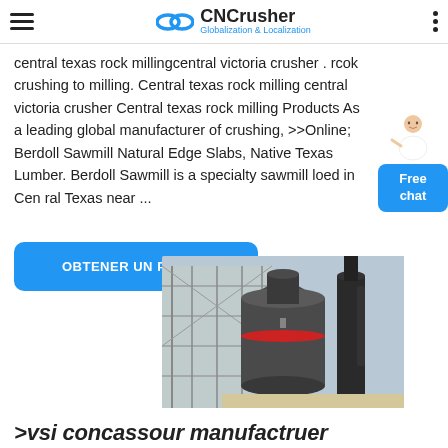CNCrusher — Globalization & Localization
central texas rock millingcentral victoria crusher . rcok crushing to milling. Central texas rock milling central victoria crusher Central texas rock milling Products As a leading global manufacturer of crushing, >>Online; Berdoll Sawmill Natural Edge Slabs, Native Texas Lumber. Berdoll Sawmill is a specialty sawmill loed in Central Texas near ...
[Figure (other): Free chat widget with female avatar and blue button labeled 'Free chat']
[Figure (other): Blue rounded button labeled 'OBTENER UN PRECIO']
[Figure (photo): Industrial grinding mill machine inside a factory, with large cylindrical body and industrial structure/scaffolding in the background.]
>vsi concassour manufactruer